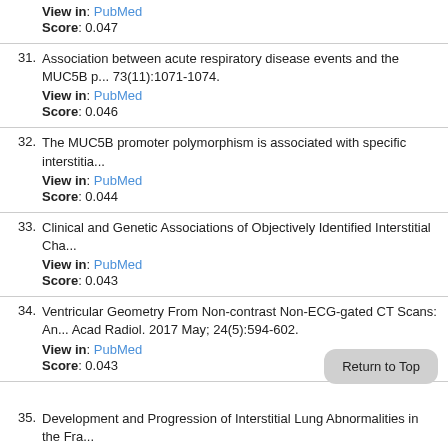View in: PubMed
Score: 0.047
31. Association between acute respiratory disease events and the MUC5B p... 73(11):1071-1074.
View in: PubMed
Score: 0.046
32. The MUC5B promoter polymorphism is associated with specific interstitia...
View in: PubMed
Score: 0.044
33. Clinical and Genetic Associations of Objectively Identified Interstitial Cha...
View in: PubMed
Score: 0.043
34. Ventricular Geometry From Non-contrast Non-ECG-gated CT Scans: An... Acad Radiol. 2017 May; 24(5):594-602.
View in: PubMed
Score: 0.043
35. Development and Progression of Interstitial Lung Abnormalities in the Fra...